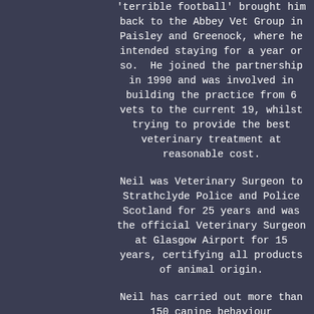'terrible football' brought him back to the Abbey Vet Group in Paisley and Greenock, where he intended staying for a year or so. He joined the partnership in 1990 and was involved in building the practice from 6 vets to the current 19, whilst trying to provide the best veterinary treatment at reasonable cost.
Neil was Veterinary Surgeon to Strathclyde Police and Police Scotland for 25 years and was the official Veterinary Surgeon at Glasgow Airport for 15 years, certifying all products of animal origin.
Neil has carried out more than 150 canine behaviour assessments on behalf of councils, where owners wish to adopt or foster children. He was also STV's 'Call the Vet' for many years and has contributed to television productions for the BBC and SKY and regularly comments on BBC Radio Scotland. He has penned a weekly Pet Page for the Daily Record for...